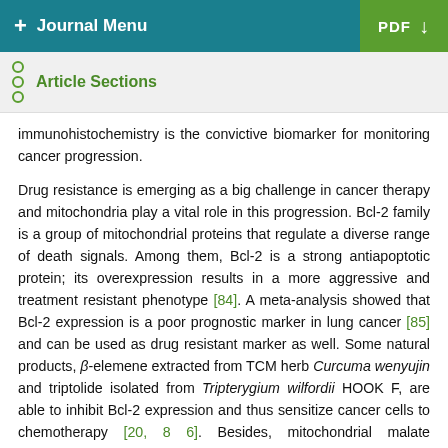+ Journal Menu  PDF
Article Sections
immunohistochemistry is the convictive biomarker for monitoring cancer progression.
Drug resistance is emerging as a big challenge in cancer therapy and mitochondria play a vital role in this progression. Bcl-2 family is a group of mitochondrial proteins that regulate a diverse range of death signals. Among them, Bcl-2 is a strong antiapoptotic protein; its overexpression results in a more aggressive and treatment resistant phenotype [84]. A meta-analysis showed that Bcl-2 expression is a poor prognostic marker in lung cancer [85] and can be used as drug resistant marker as well. Some natural products, β-elemene extracted from TCM herb Curcuma wenyujin and triptolide isolated from Tripterygium wilfordii HOOK F, are able to inhibit Bcl-2 expression and thus sensitize cancer cells to chemotherapy [20, 86]. Besides, mitochondrial malate dehydrogenase also plays an essential role in docetaxel resistance in clinic [31, 87]; knockdown of malate dehydrogenase 2 (MDH2) increases